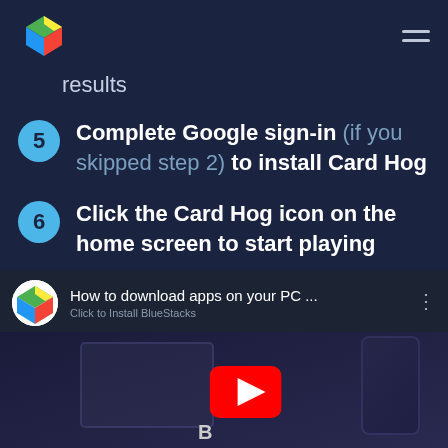BlueStacks logo and navigation menu
results
Complete Google sign-in (if you skipped step 2) to install Card Hog
Click the Card Hog icon on the home screen to start playing
[Figure (screenshot): YouTube-style video embed showing 'How to download apps on your PC ... Click to Install BlueStacks' with BlueStacks logo, play button overlay, and laptop/phone mockup in background]